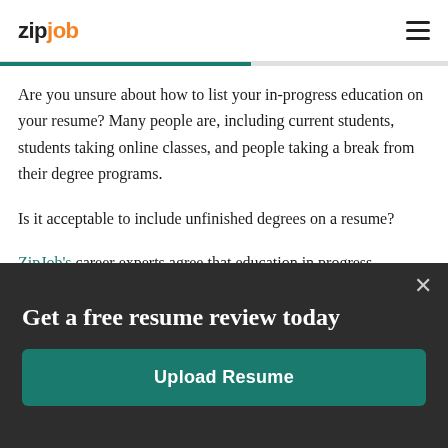zipjob
Are you unsure about how to list your in-progress education on your resume? Many people are, including current students, students taking online classes, and people taking a break from their degree programs.
Is it acceptable to include unfinished degrees on a resume?
ZipJob's career experts agree that education in progress
Get a free resume review today
Upload Resume